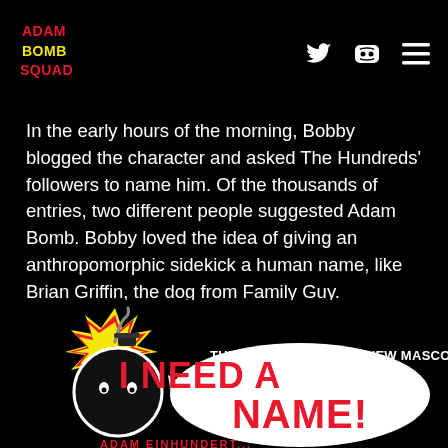ADAM BOMB SQUAD
In the early hours of the morning, Bobby blogged the character and asked The Hundreds' followers to name him. Of the thousands of entries, two different people suggested Adam Bomb. Bobby loved the idea of giving an anthropomorphic sidekick a human name, like Brian Griffin, the dog from Family Guy.
[Figure (illustration): Comic-style illustration of the Adam Bomb character (round black bomb with a face and lit fuse with yellow explosion burst) with a speech bubble reading 'I NEED A NAME!' and text above reading 'THE HUNDREDS HAS A NEW MASCOT, BUT...']